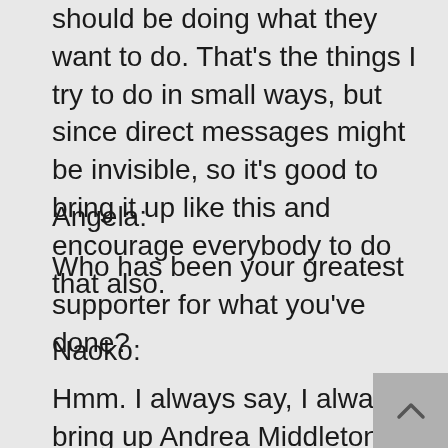should be doing what they want to do. That's the things I try to do in small ways, but since direct messages might be invisible, so it's good to bring it up like this and encourage everybody to do that also.
Angela:
Who has been your greatest supporter for what you've done?
Naoko:
Hmm. I always say, I always bring up Andrea Middleton as a reason I'm still around and being here, because she's really great leader. I mentioned